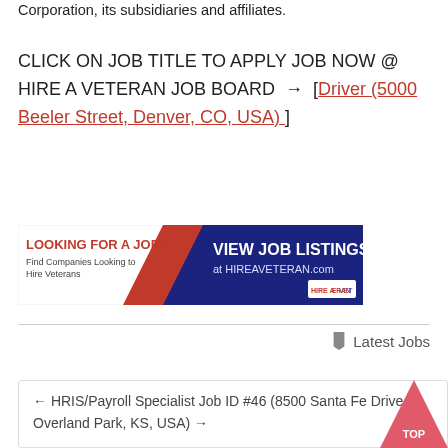Corporation, its subsidiaries and affiliates.
CLICK ON JOB TITLE TO APPLY JOB NOW @ HIRE A VETERAN JOB BOARD → [Driver (5000 Beeler Street, Denver, CO, USA) ]
[Figure (screenshot): Advertisement banner for HireAVeteran.com: 'LOOKING FOR A JOB? Find Companies Looking to Hire Veterans. VIEW JOB LISTINGS at HIREAVETERAN.com']
Latest Jobs
← HRIS/Payroll Specialist Job ID #46 (8500 Santa Fe Drive, Overland Park, KS, USA) →